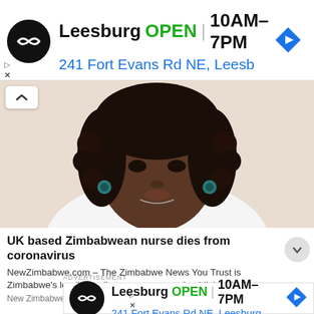[Figure (screenshot): Google Maps / ad banner showing Leesburg store: OPEN 10AM-7PM, 241 Fort Evans Rd NE, Leesburg with navigation arrow icon]
[Figure (photo): Portrait photo of a Black woman with curly hair and blue/teal earrings wearing a white top]
UK based Zimbabwean nurse dies from coronavirus
NewZimbabwe.com – The Zimbabwe News You Trust is Zimbabwe's leading online newspaper and published by Ne...
New Zimbabwe
ADVERTISEMENT
[Figure (screenshot): Second Google Maps ad banner showing Leesburg store: OPEN 10AM-7PM, 241 Fort Evans Rd NE, Leesburg with navigation arrow icon]